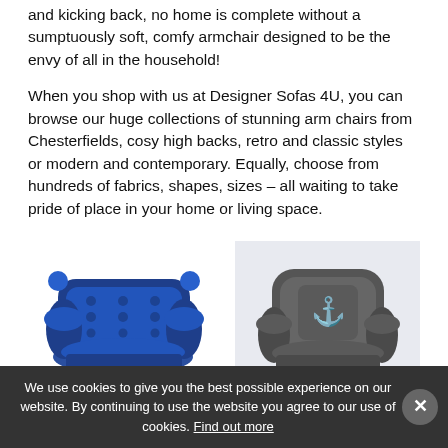and kicking back, no home is complete without a sumptuously soft, comfy armchair designed to be the envy of all in the household!
When you shop with us at Designer Sofas 4U, you can browse our huge collections of stunning arm chairs from Chesterfields, cosy high backs, retro and classic styles or modern and contemporary. Equally, choose from hundreds of fabrics, shapes, sizes – all waiting to take pride of place in your home or living space.
[Figure (photo): Blue tufted leather Chesterfield armchair]
Leather Armchairs
[Figure (photo): Grey fabric armchair with deer stag cushion on light blue-grey background]
Fabric Armchairs
We use cookies to give you the best possible experience on our website. By continuing to use the website you agree to our use of cookies. Find out more